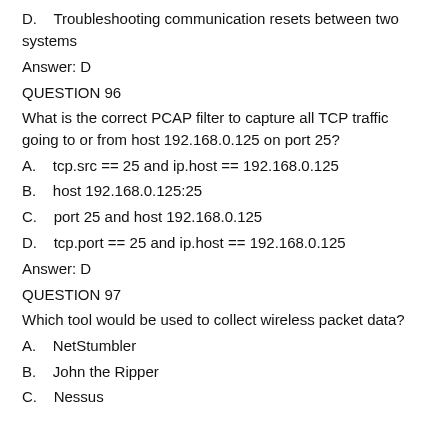D.    Troubleshooting communication resets between two systems
Answer: D
QUESTION 96
What is the correct PCAP filter to capture all TCP traffic going to or from host 192.168.0.125 on port 25?
A.    tcp.src == 25 and ip.host == 192.168.0.125
B.    host 192.168.0.125:25
C.    port 25 and host 192.168.0.125
D.    tcp.port == 25 and ip.host == 192.168.0.125
Answer: D
QUESTION 97
Which tool would be used to collect wireless packet data?
A.    NetStumbler
B.    John the Ripper
C.    Nessus